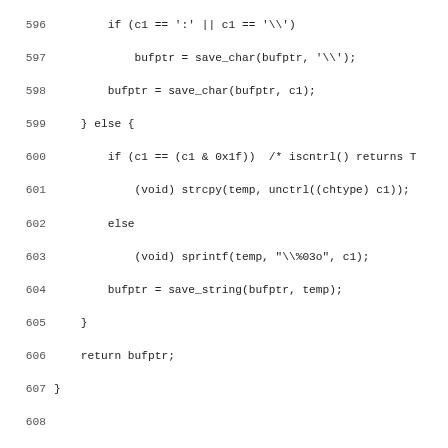Source code listing lines 596-627
596     if (c1 == ':' || c1 == '\\')
597         bufptr = save_char(bufptr, '\\');
598     bufptr = save_char(bufptr, c1);
599 } else {
600     if (c1 == (c1 & 0x1f))  /* iscntrl() returns T
601         (void) strcpy(temp, unctrl((chtype) c1));
602     else
603         (void) sprintf(temp, "\\%03o", c1);
604     bufptr = save_string(bufptr, temp);
605 }
606     return bufptr;
607 }
608 
609 static char *
610 save_tc_inequality(char *bufptr, int c1, int c2)
611 {
612     bufptr = save_string(bufptr, "%>");
613     bufptr = save_tc_char(bufptr, c1);
614     bufptr = save_tc_char(bufptr, c2);
615     return bufptr;
616 }
617 
618 /*
619  * Here are the capabilities infotocap assumes it can t
620  *
621  *     %%      output `%'
622  *     %d      output value as in printf %d
623  *     %2      output value as in printf %2d
624  *     %3      output value as in printf %3d
625  *     %.      output value as in printf %c
626  *     %+c     add character c to value, then do %.
627  *     %>xy    if value > x then add y, no output